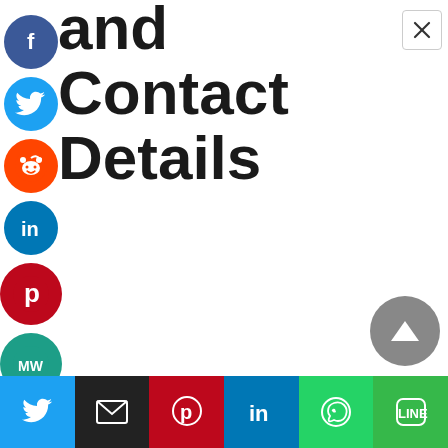and Contact Details
[Figure (infographic): Column of circular social media share buttons on left: Facebook (blue), Twitter (light blue), Reddit (orange), LinkedIn (teal-blue), Pinterest (red), MeWe (teal), and partially visible orange icon at bottom]
[Figure (other): Close button (X) in top-right corner]
[Figure (other): Back-to-top arrow button (grey circle with upward triangle) on right side]
[Figure (infographic): Bottom share bar with 6 buttons: Twitter (blue bird icon), Email (black envelope icon), Pinterest (red P icon), LinkedIn (blue in icon), WhatsApp (green phone icon), Line (green LINE icon)]